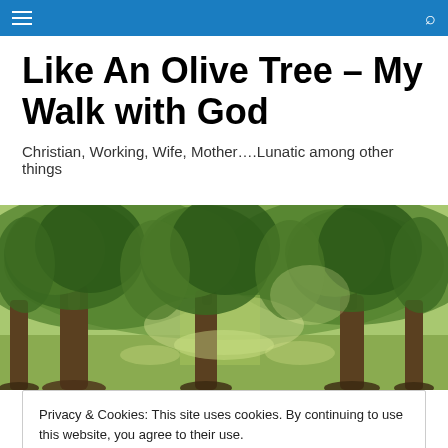Navigation bar with hamburger menu and search icon
Like An Olive Tree – My Walk with God
Christian, Working, Wife, Mother….Lunatic among other things
[Figure (photo): Panoramic photo of an olive tree grove with gnarled ancient trees and green foliage under bright sunlight]
Privacy & Cookies: This site uses cookies. By continuing to use this website, you agree to their use. To find out more, including how to control cookies, see here: Cookie Policy
Close and accept